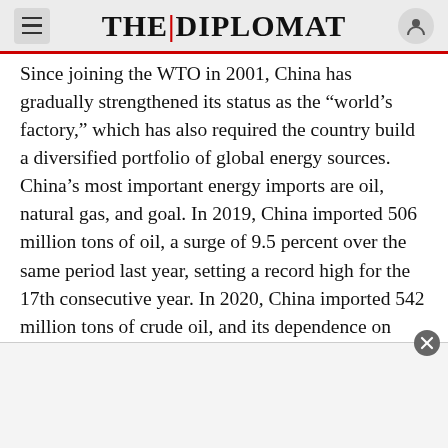THE DIPLOMAT
Since joining the WTO in 2001, China has gradually strengthened its status as the “world’s factory,” which has also required the country build a diversified portfolio of global energy sources. China’s most important energy imports are oil, natural gas, and goal. In 2019, China imported 506 million tons of oil, a surge of 9.5 percent over the same period last year, setting a record high for the 17th consecutive year. In 2020, China imported 542 million tons of crude oil, and its dependence on foreign oil reached 73 percent. Next is natural gas. In 2019, China imported 96.56 million tons of natural gas (equivalent to 135.2 billion cubic